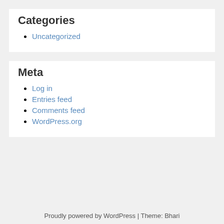Categories
Uncategorized
Meta
Log in
Entries feed
Comments feed
WordPress.org
Proudly powered by WordPress | Theme: Bhari